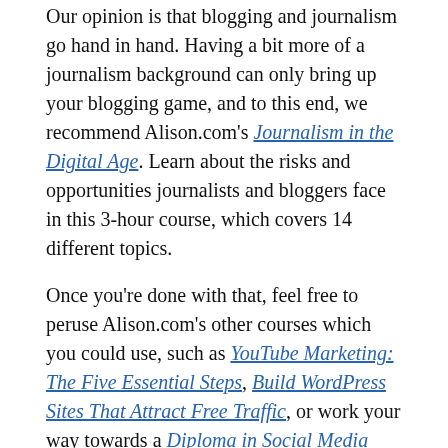Our opinion is that blogging and journalism go hand in hand. Having a bit more of a journalism background can only bring up your blogging game, and to this end, we recommend Alison.com's Journalism in the Digital Age. Learn about the risks and opportunities journalists and bloggers face in this 3-hour course, which covers 14 different topics.
Once you're done with that, feel free to peruse Alison.com's other courses which you could use, such as YouTube Marketing: The Five Essential Steps, Build WordPress Sites That Attract Free Traffic, or work your way towards a Diploma in Social Media Strategy.
3.  eMarketing Institute
On the available booklet...